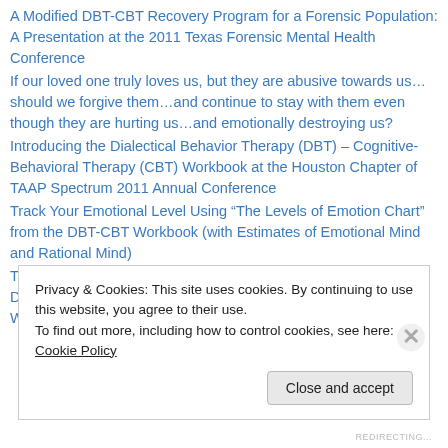A Modified DBT-CBT Recovery Program for a Forensic Population: A Presentation at the 2011 Texas Forensic Mental Health Conference
If our loved one truly loves us, but they are abusive towards us…should we forgive them…and continue to stay with them even though they are hurting us…and emotionally destroying us?
Introducing the Dialectical Behavior Therapy (DBT) – Cognitive-Behavioral Therapy (CBT) Workbook at the Houston Chapter of TAAP Spectrum 2011 Annual Conference
Track Your Emotional Level Using “The Levels of Emotion Chart” from the DBT-CBT Workbook (with Estimates of Emotional Mind and Rational Mind)
The Dynamics of Emotional Mind and It’s Role in Driving Destructive Coping Behavior: When Emotional Mind Drives…We Wreck Out…and
Privacy & Cookies: This site uses cookies. By continuing to use this website, you agree to their use.
To find out more, including how to control cookies, see here: Cookie Policy
REDIRECTING...